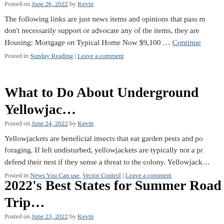Posted on June 26, 2022 by Kevin
The following links are just news items and opinions that pass m… don't necessarily support or advocate any of the items, they are … Housing: Mortgage on Typical Home Now $9,100 … Continue
Posted in Sunday Reading | Leave a comment
What to Do About Underground Yellowjac…
Posted on June 24, 2022 by Kevin
Yellowjackets are beneficial insects that eat garden pests and po… foraging. If left undisturbed, yellowjackets are typically not a pr… defend their nest if they sense a threat to the colony. Yellowjack…
Posted in News You Can use, Vector Control | Leave a comment
2022's Best States for Summer Road Trip…
Posted on June 23, 2022 by Kevin